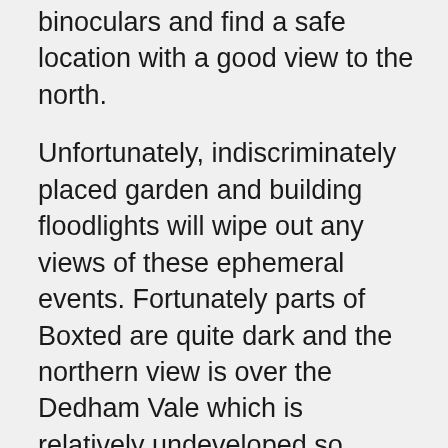binoculars and find a safe location with a good view to the north.
Unfortunately, indiscriminately placed garden and building floodlights will wipe out any views of these ephemeral events. Fortunately parts of Boxted are quite dark and the northern view is over the Dedham Vale which is relatively undeveloped so offers dark skies without too much light pollution.
Photographing Comet NEOWISE is also quite easy and requires only short exposures (2 to 10 seconds) with a fixed